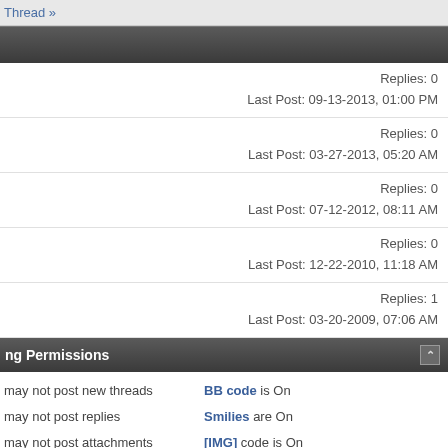Thread »
Replies: 0
Last Post: 09-13-2013, 01:00 PM
Replies: 0
Last Post: 03-27-2013, 05:20 AM
Replies: 0
Last Post: 07-12-2012, 08:11 AM
Replies: 0
Last Post: 12-22-2010, 11:18 AM
Replies: 1
Last Post: 03-20-2009, 07:06 AM
ng Permissions
may not post new threads
may not post replies
may not post attachments
may not edit your posts
BB code is On
Smilies are On
[IMG] code is On
[VIDEO] code is On
HTML code is Off